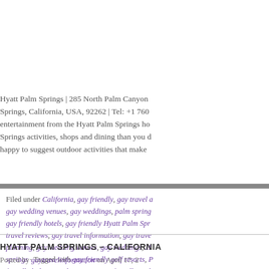Hyatt Palm Springs | 285 North Palm Canyon Springs, California, USA, 92262 | Tel: +1 760 entertainment from the Hyatt Palm Springs ho Springs activities, shops and dining than you d happy to suggest outdoor activities that make
Filed under California, gay friendly, gay travel a gay wedding venues, gay weddings, palm spring gay friendly hotels, gay friendly Hyatt Palm Spr travel reviews, gay travel information, gay trave planning, gay wedding venues, gay weddings, H springs · Tagged with gay friendly golf resorts, P friendly lodging, Palm Springs gay friendly wed Springs gay marriage, Palm Springs gay weddi Springs golf resorts, Palm Springs luxury hotels
HYATT PALM SPRINGS – CALIFORNIA
Posted by gaytravelinformation on April 17, 2